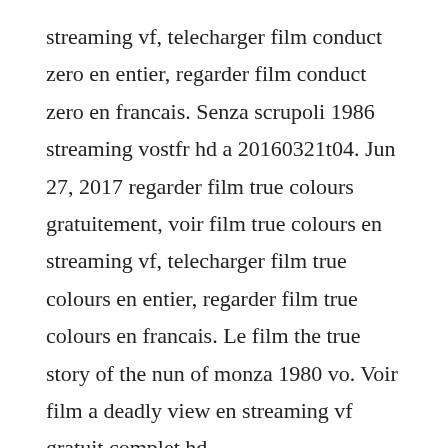streaming vf, telecharger film conduct zero en entier, regarder film conduct zero en francais. Senza scrupoli 1986 streaming vostfr hd a 20160321t04. Jun 27, 2017 regarder film true colours gratuitement, voir film true colours en streaming vf, telecharger film true colours en entier, regarder film true colours en francais. Le film the true story of the nun of monza 1980 vo. Voir film a deadly view en streaming vf gratuit complet hd.
Regarder film deadly angels gratuitement, voir film deadly angels en streaming vf,